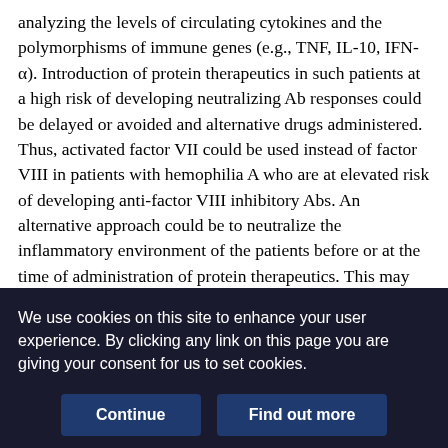analyzing the levels of circulating cytokines and the polymorphisms of immune genes (e.g., TNF, IL-10, IFN-α). Introduction of protein therapeutics in such patients at a high risk of developing neutralizing Ab responses could be delayed or avoided and alternative drugs administered. Thus, activated factor VII could be used instead of factor VIII in patients with hemophilia A who are at elevated risk of developing anti-factor VIII inhibitory Abs. An alternative approach could be to neutralize the inflammatory environment of the patients before or at the time of administration of protein therapeutics. This may be achieved by using therapeutic mAbs to inflammatory cytokines, including TNF, or immunosuppressive agents (e.g., steroids). Importantly, although such approaches can have usual side effects, they would
We use cookies on this site to enhance your user experience. By clicking any link on this page you are giving your consent for us to set cookies.